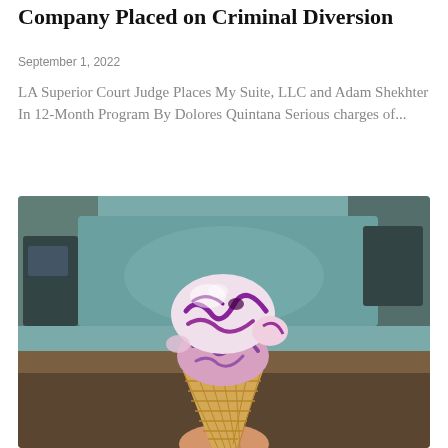Company Placed on Criminal Diversion
September 1, 2022
LA Superior Court Judge Places My Suite, LLC and Adam Shekhter In 12-Month Program By Dolores Quintana Serious charges of...
[Figure (photo): A hand holding a waffle cone with two scoops of white and purple/berry swirled ice cream, photographed in front of a blurred cafe interior background.]